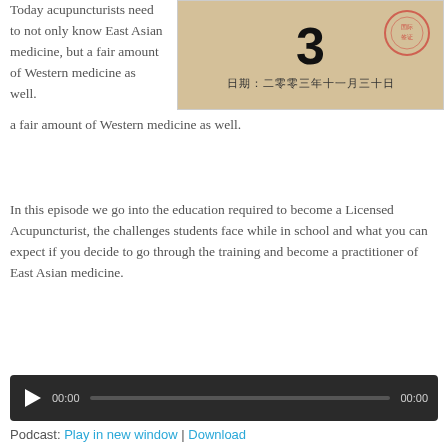Today acupuncturists need to not only know East Asian medicine, but a fair amount of Western medicine as well.
[Figure (photo): Photo of a Chinese document showing the number 3, a red official stamp, and Chinese text reading: 日期：二零零三年十一月三十日]
In this episode we go into the education required to become a Licensed Acupuncturist, the challenges students face while in school and what you can expect if you decide to go through the training and become a practitioner of East Asian medicine.
[Figure (other): Audio player widget showing 00:00 / 00:00 with a play button and progress bar]
Podcast: Play in new window | Download